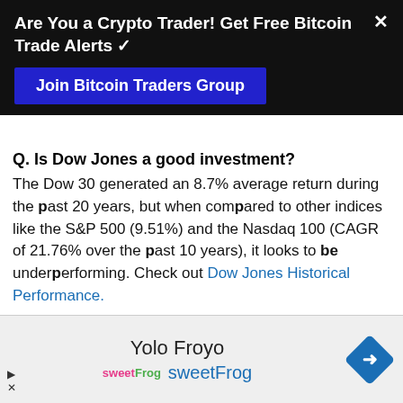Are You a Crypto Trader! Get Free Bitcoin Trade Alerts ✓
Join Bitcoin Traders Group
Q. Is Dow Jones a good investment?
The Dow 30 generated an 8.7% average return during the past 20 years, but when compared to other indices like the S&P 500 (9.51%) and the Nasdaq 100 (CAGR of 21.76% over the past 10 years), it looks to be underperforming. Check out Dow Jones Historical Performance.
Q. How to Invest in Dow Jones Index?
The best option to invest in Dow 30 stocks is using
[Figure (other): Advertisement banner for Yolo Froyo / sweetFrog with logo and navigation icon]